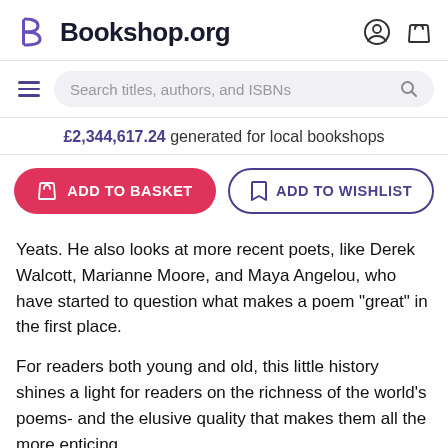Bookshop.org
Search titles, authors, and ISBNs
£2,344,617.24 generated for local bookshops
ADD TO BASKET   ADD TO WISHLIST
Yeats. He also looks at more recent poets, like Derek Walcott, Marianne Moore, and Maya Angelou, who have started to question what makes a poem "great" in the first place.
For readers both young and old, this little history shines a light for readers on the richness of the world's poems- and the elusive quality that makes them all the more enticing.